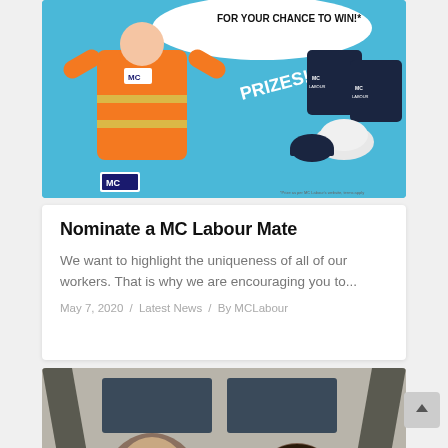[Figure (illustration): MC Labour promotional banner with cartoon worker in orange vest, text 'FOR YOUR CHANCE TO WIN!' and 'PRIZES!', showing branded merchandise (shirts, hard hat, beanie) on blue background]
Nominate a MC Labour Mate
We want to highlight the uniqueness of all of our workers. That is why we are encouraging you to...
May 7, 2020 / Latest News / By MCLabour
[Figure (photo): Photo of two men sitting in a car interior, viewed from inside, with sunroof visible above]